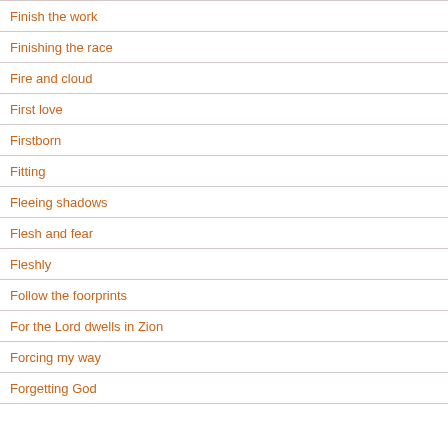Finish the work
Finishing the race
Fire and cloud
First love
Firstborn
Fitting
Fleeing shadows
Flesh and fear
Fleshly
Follow the foorprints
For the Lord dwells in Zion
Forcing my way
Forgetting God